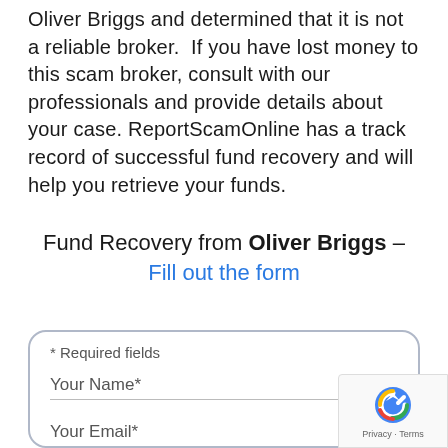Oliver Briggs and determined that it is not a reliable broker. If you have lost money to this scam broker, consult with our professionals and provide details about your case. ReportScamOnline has a track record of successful fund recovery and will help you retrieve your funds.
Fund Recovery from Oliver Briggs – Fill out the form
* Required fields
Your Name*
Your Email*